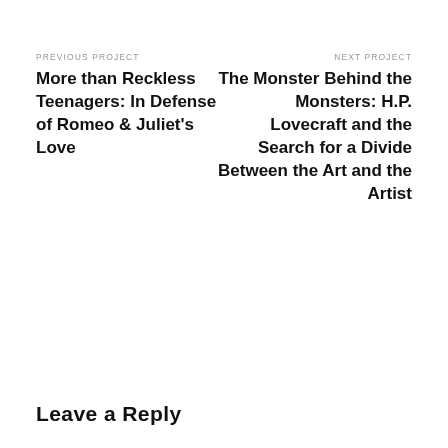PREVIOUS PROJECT
More than Reckless Teenagers: In Defense of Romeo & Juliet's Love
NEXT PROJECT
The Monster Behind the Monsters: H.P. Lovecraft and the Search for a Divide Between the Art and the Artist
Leave a Reply